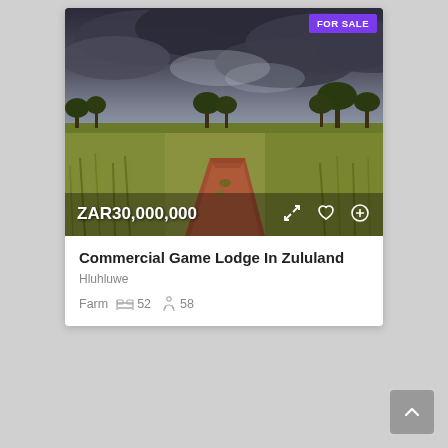[Figure (photo): Savanna landscape with red dirt road, tall yellow-green grass, acacia trees on the horizon, dramatic dark cloudy sky. FOR SALE badge in top right corner. Price overlay ZAR30,000,000 at bottom left. Heart, expand, and add icons at bottom right.]
Commercial Game Lodge In Zululand
Hluhluwe
Farm  52  58